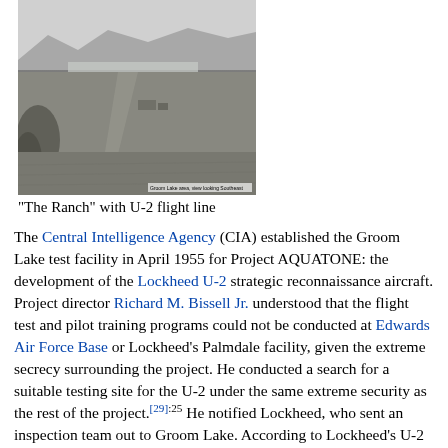[Figure (photo): Black and white aerial photograph of 'The Ranch' showing Groom Lake test facility with U-2 flight line, dry lake bed, mountains in background, and a small caption overlay at bottom right.]
"The Ranch" with U-2 flight line
The Central Intelligence Agency (CIA) established the Groom Lake test facility in April 1955 for Project AQUATONE: the development of the Lockheed U-2 strategic reconnaissance aircraft. Project director Richard M. Bissell Jr. understood that the flight test and pilot training programs could not be conducted at Edwards Air Force Base or Lockheed's Palmdale facility, given the extreme secrecy surrounding the project. He conducted a search for a suitable testing site for the U-2 under the same extreme security as the rest of the project.[29]:25 He notified Lockheed, who sent an inspection team out to Groom Lake. According to Lockheed's U-2 designer Kelly Johnson:[29] :26
We flew over it and within thirty seconds, you knew that was the place ... it was right by a dry lake. Man